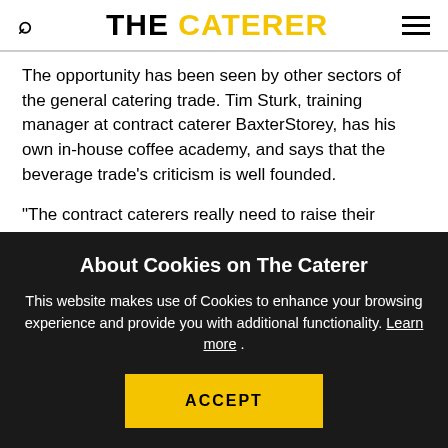THE CATERER
The opportunity has been seen by other sectors of the general catering trade. Tim Sturk, training manager at contract caterer BaxterStorey, has his own in-house coffee academy, and says that the beverage trade's criticism is well founded.
"The contract caterers really need to raise their game. The general attitude towards coffee from the contract catering industry is indifference, which led the coffee
About Cookies on The Caterer
This website makes use of Cookies to enhance your browsing experience and provide you with additional functionality. Learn more .
ACCEPT